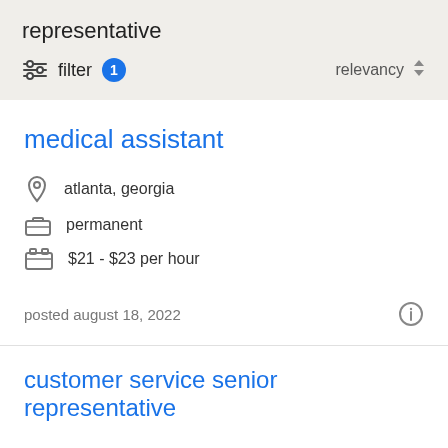representative
filter 1   relevancy
medical assistant
atlanta, georgia
permanent
$21 - $23 per hour
posted august 18, 2022
customer service senior representative